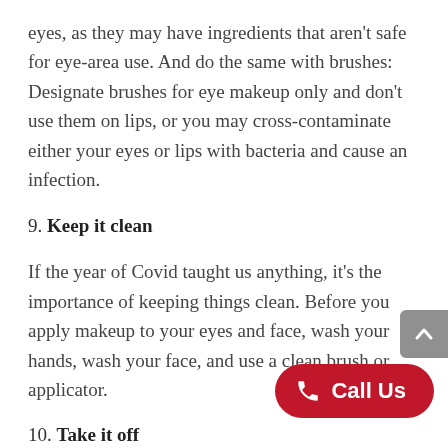eyes, as they may have ingredients that aren't safe for eye-area use. And do the same with brushes: Designate brushes for eye makeup only and don't use them on lips, or you may cross-contaminate either your eyes or lips with bacteria and cause an infection.
9. Keep it clean
If the year of Covid taught us anything, it's the importance of keeping things clean. Before you apply makeup to your eyes and face, wash your hands, wash your face, and use a clean brush or applicator.
10. Take it off
Make it a non-negotiable rule: Before you go to